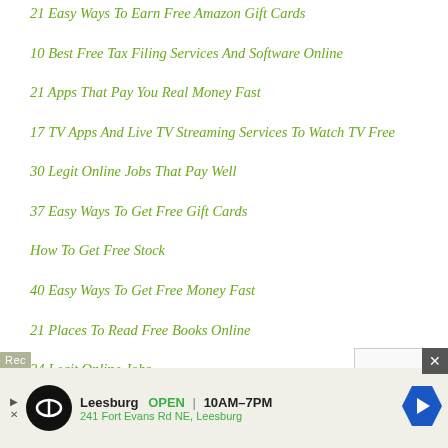21 Easy Ways To Earn Free Amazon Gift Cards
10 Best Free Tax Filing Services And Software Online
21 Apps That Pay You Real Money Fast
17 TV Apps And Live TV Streaming Services To Watch TV Free
30 Legit Online Jobs That Pay Well
37 Easy Ways To Get Free Gift Cards
How To Get Free Stock
40 Easy Ways To Get Free Money Fast
21 Places To Read Free Books Online
24 Legit Online Jobs
17 Best Work From Home Jobs: A List Of Legit Online Jobs That Pay Well
[Figure (other): Advertisement banner for Leesburg store showing logo, open hours 10AM-7PM, address 241 Fort Evans Rd NE Leesburg, navigation arrow icon]